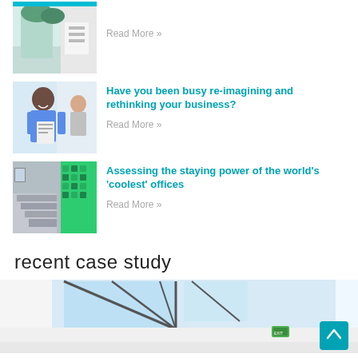[Figure (photo): First article thumbnail - interior/plant scene]
Read More »
[Figure (photo): Second article thumbnail - man holding blueprints in office]
Have you been busy re-imagining and rethinking your business?
Read More »
[Figure (photo): Third article thumbnail - modern office interior with green wall]
Assessing the staying power of the world's 'coolest' offices
Read More »
recent case study
[Figure (photo): Case study image - interior space with skylight roof structure]